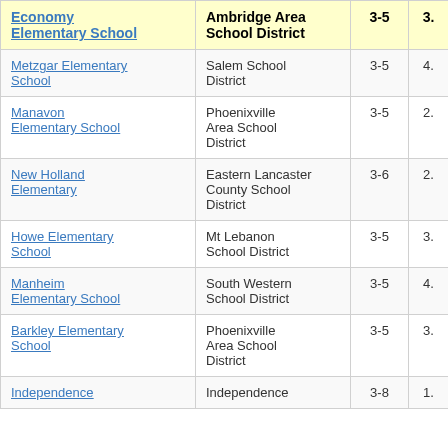| School | District | Grades |  |
| --- | --- | --- | --- |
| Economy Elementary School | Ambridge Area School District | 3-5 | 3. |
| Metzgar Elementary School | Salem School District | 3-5 | 4. |
| Manavon Elementary School | Phoenixville Area School District | 3-5 | 2. |
| New Holland Elementary | Eastern Lancaster County School District | 3-6 | 2. |
| Howe Elementary School | Mt Lebanon School District | 3-5 | 3. |
| Manheim Elementary School | South Western School District | 3-5 | 4. |
| Barkley Elementary School | Phoenixville Area School District | 3-5 | 3. |
| Independence | Independence | 3-8 | 1. |